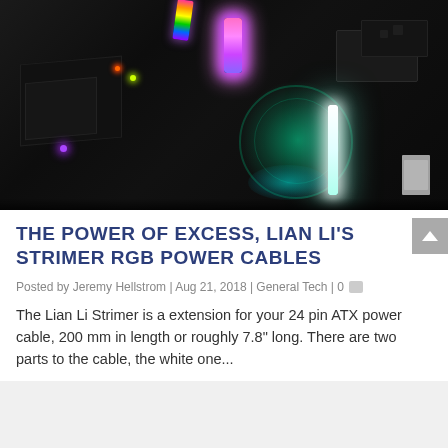[Figure (photo): Top-down view of a PC build interior showing RGB components — a rainbow-colored cable at top, green glowing fan, white vertical LED strip, and teal/blue glow at bottom, all against a dark black background.]
THE POWER OF EXCESS, LIAN LI'S STRIMER RGB POWER CABLES
Posted by Jeremy Hellstrom | Aug 21, 2018 | General Tech | 0
The Lian Li Strimer is a extension for your 24 pin ATX power cable, 200 mm in length or roughly 7.8" long. There are two parts to the cable, the white one...